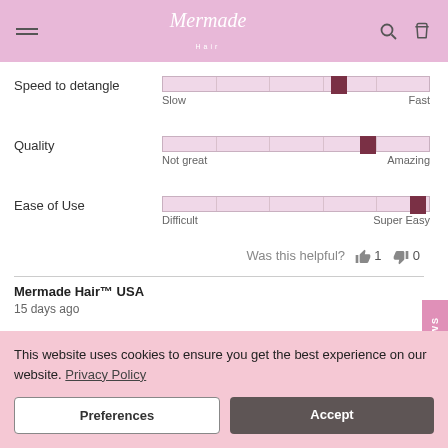Mermade Hair
Speed to detangle — Slow to Fast, indicator at ~65%
Quality — Not great to Amazing, indicator at ~75%
Ease of Use — Difficult to Super Easy, indicator at ~95%
Was this helpful? 👍 1 👎 0
Mermade Hair™ USA
15 days ago
This website uses cookies to ensure you get the best experience on our website. Privacy Policy
Preferences | Accept